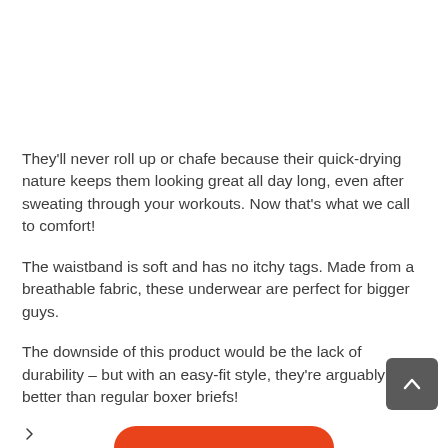They'll never roll up or chafe because their quick-drying nature keeps them looking great all day long, even after sweating through your workouts. Now that's what we call to comfort!
The waistband is soft and has no itchy tags. Made from a breathable fabric, these underwear are perfect for bigger guys.
The downside of this product would be the lack of durability – but with an easy-fit style, they're arguably better than regular boxer briefs!